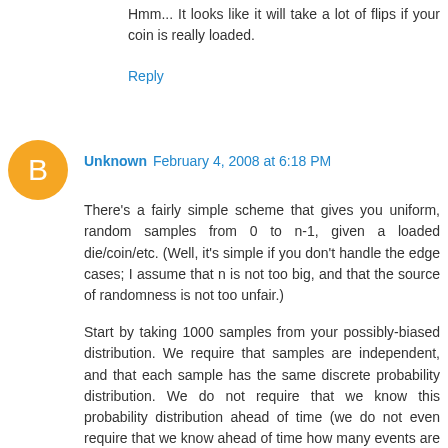Hmm... It looks like it will take a lot of flips if your coin is really loaded.
Reply
Unknown February 4, 2008 at 6:18 PM
There's a fairly simple scheme that gives you uniform, random samples from 0 to n-1, given a loaded die/coin/etc. (Well, it's simple if you don't handle the edge cases; I assume that n is not too big, and that the source of randomness is not too unfair.)
Start by taking 1000 samples from your possibly-biased distribution. We require that samples are independent, and that each sample has the same discrete probability distribution. We do not require that we know this probability distribution ahead of time (we do not even require that we know ahead of time how many events are possible; if you're flipping a coin, and writing down a sequence of H and T, and the coin lands on its edge, just write down an E and continue.)